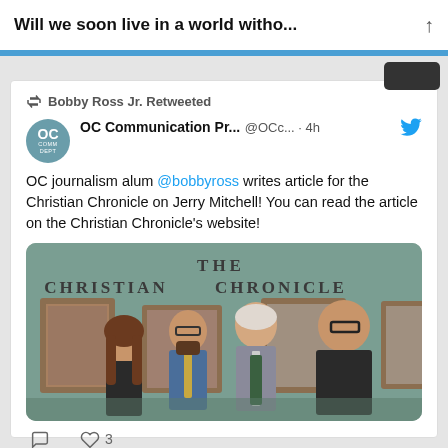Will we soon live in a world witho...
Bobby Ross Jr. Retweeted
OC Communication Pr...  @OCc...  · 4h
OC journalism alum @bobbyross writes article for the Christian Chronicle on Jerry Mitchell! You can read the article on the Christian Chronicle's website!
[Figure (photo): Four people posing together in front of a teal wall with framed photos and text reading 'THE CHRISTIAN CHRONICLE'. From left: young woman with long brown hair, man in blue shirt and tie, older man in suit and tie, large man in dark shirt.]
3